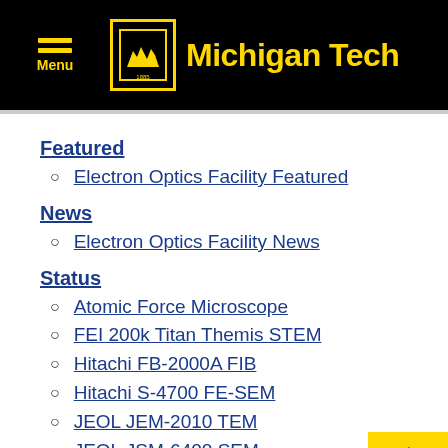Michigan Tech
Featured
Electron Optics Facility Featured
News
Electron Optics Facility News
Status
Atomic Force Microscope
FEI 200k Titan Themis STEM
Hitachi FB-2000A FIB
Hitachi S-4700 FE-SEM
JEOL JEM-2010 TEM
JEOL JSM-6400 SEM